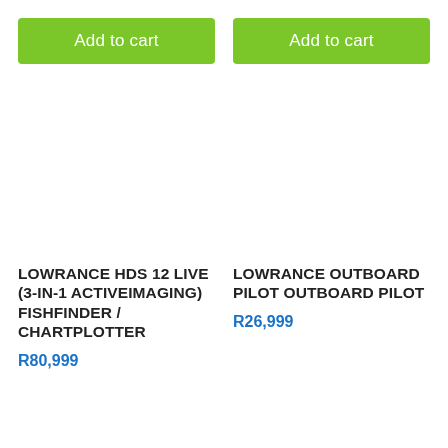Add to cart
Add to cart
LOWRANCE HDS 12 LIVE (3-IN-1 ACTIVEIMAGING) FISHFINDER / CHARTPLOTTER
R80,999
LOWRANCE OUTBOARD PILOT OUTBOARD PILOT
R26,999